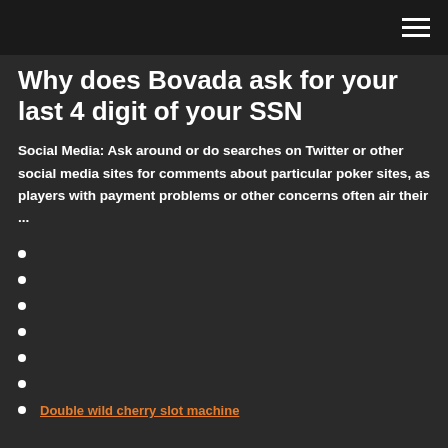Why does Bovada ask for your last 4 digit of your SSN
Social Media: Ask around or do searches on Twitter or other social media sites for comments about particular poker sites, as players with payment problems or other concerns often air their ...
Double wild cherry slot machine